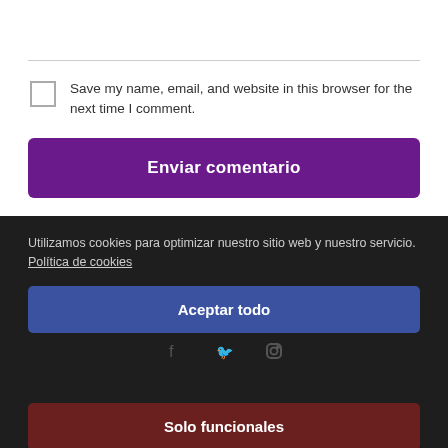Save my name, email, and website in this browser for the next time I comment.
Enviar comentario
Utilizamos cookies para optimizar nuestro sitio web y nuestro servicio. Política de cookies
Aceptar todo
Solo funcionales
Política de privacidad | Política de cookies
Ver preferencias
© Comercio Rural Burgos · Diputación Provincial de Burgos